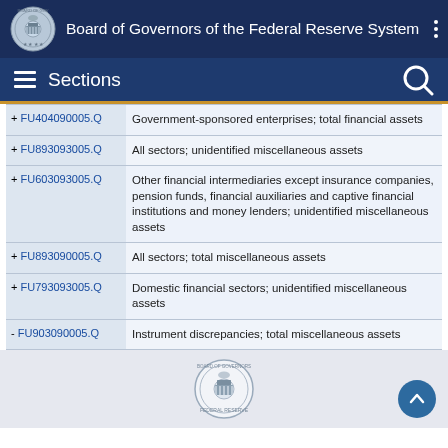Board of Governors of the Federal Reserve System
Sections
| Code | Description |
| --- | --- |
| + FU404090005.Q | Government-sponsored enterprises; total financial assets |
| + FU893093005.Q | All sectors; unidentified miscellaneous assets |
| + FU603093005.Q | Other financial intermediaries except insurance companies, pension funds, financial auxiliaries and captive financial institutions and money lenders; unidentified miscellaneous assets |
| + FU893090005.Q | All sectors; total miscellaneous assets |
| + FU793093005.Q | Domestic financial sectors; unidentified miscellaneous assets |
| - FU903090005.Q | Instrument discrepancies; total miscellaneous assets |
Federal Reserve seal